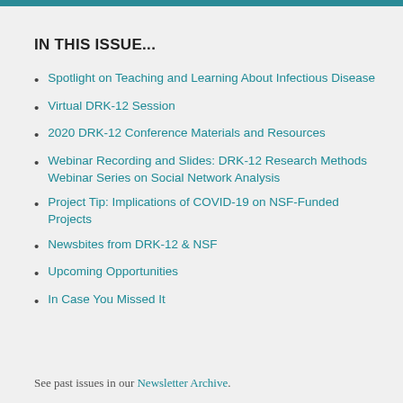IN THIS ISSUE...
Spotlight on Teaching and Learning About Infectious Disease
Virtual DRK-12 Session
2020 DRK-12 Conference Materials and Resources
Webinar Recording and Slides: DRK-12 Research Methods Webinar Series on Social Network Analysis
Project Tip: Implications of COVID-19 on NSF-Funded Projects
Newsbites from DRK-12 & NSF
Upcoming Opportunities
In Case You Missed It
See past issues in our Newsletter Archive.